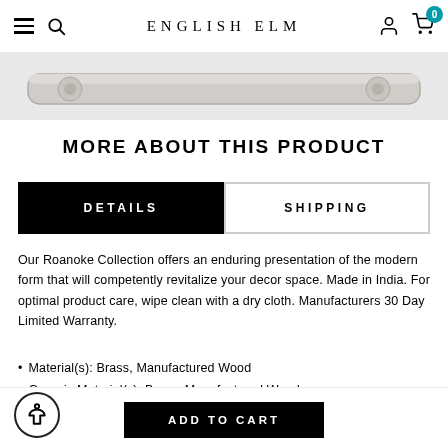ENGLISH ELM
[Figure (photo): Top portion of a product image showing a metallic shelf or rack with rounded edges against a white background]
MORE ABOUT THIS PRODUCT
DETAILS | SHIPPING tabs
Our Roanoke Collection offers an enduring presentation of the modern form that will competently revitalize your decor space. Made in India. For optimal product care, wipe clean with a dry cloth. Manufacturers 30 Day Limited Warranty.
Material(s): Brass, Manufactured Wood
Generic Material(s): Brass, Manufactured Wood